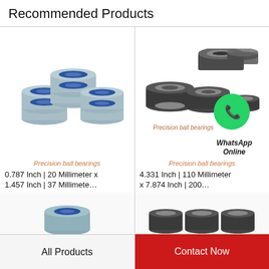Recommended Products
[Figure (photo): Group of blue-sealed precision ball bearings stacked together]
Precision ball bearings
0.787 Inch | 20 Millimeter x 1.457 Inch | 37 Millimete…
[Figure (photo): Group of black-sealed precision ball bearings with WhatsApp Online overlay]
Precision ball bearings
WhatsApp Online
4.331 Inch | 110 Millimeter x 7.874 Inch | 200…
[Figure (photo): Partial view of a bearing product (bottom left)]
[Figure (photo): Partial view of bearing products (bottom right)]
All Products
Contact Now